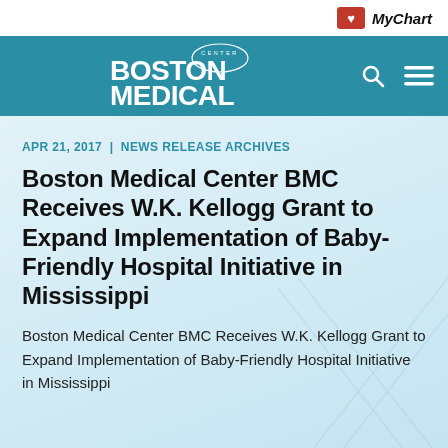MyChart
[Figure (logo): Boston Medical Center logo in white on teal navigation bar with search and hamburger menu icons]
APR 21, 2017 | NEWS RELEASE ARCHIVES
Boston Medical Center BMC Receives W.K. Kellogg Grant to Expand Implementation of Baby-Friendly Hospital Initiative in Mississippi
Boston Medical Center BMC Receives W.K. Kellogg Grant to Expand Implementation of Baby-Friendly Hospital Initiative in Mississippi